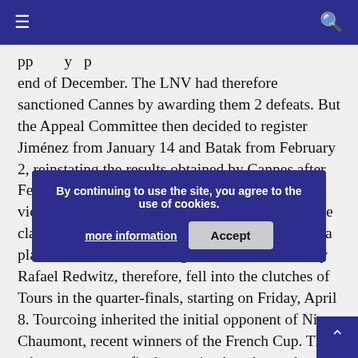Navigation bar with hamburger menu and search icon
end of December. The LNV had therefore sanctioned Cannes by awarding them 2 defeats. But the Appeal Committee then decided to register Jiménez from January 14 and Batak from February 2, reinstating the results obtained by Cannes after February 2. The 'Dragons' notably recover their victory against Nice, which caused a change in the classification: Nice, 7th-placed, lost 2 points and a place in favor of Tourcoing. The team coached by Rafael Redwitz, therefore, fell into the clutches of Tours in the quarter-finals, starting on Friday, April 8. Tourcoing inherited the initial opponent of Nice: Chaumont, recent winners of the French Cup. The other two quarter-finals remained unchanged: Montpellier vs Paris, and Narbonne vs Sète.
By continuing to use the site, you agree to the use of cookies.
more information
Accept